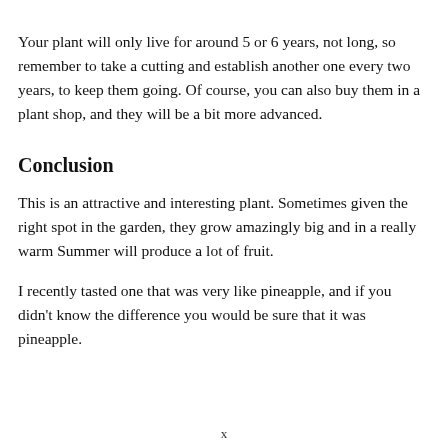Your plant will only live for around 5 or 6 years, not long, so remember to take a cutting and establish another one every two years, to keep them going. Of course, you can also buy them in a plant shop, and they will be a bit more advanced.
Conclusion
This is an attractive and interesting plant. Sometimes given the right spot in the garden, they grow amazingly big and in a really warm Summer will produce a lot of fruit.
I recently tasted one that was very like pineapple, and if you didn't know the difference you would be sure that it was pineapple.
x